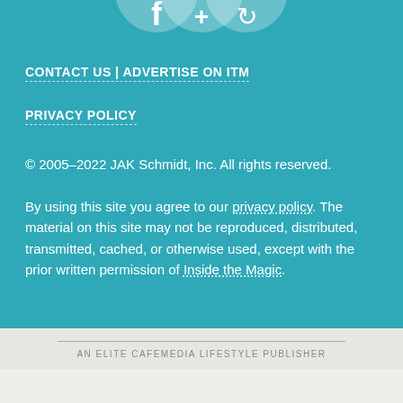[Figure (illustration): Partial view of three circular social media icons (overlapping, cropped at top) on teal background]
CONTACT US | ADVERTISE ON ITM
PRIVACY POLICY
© 2005–2022 JAK Schmidt, Inc. All rights reserved.
By using this site you agree to our privacy policy. The material on this site may not be reproduced, distributed, transmitted, cached, or otherwise used, except with the prior written permission of Inside the Magic.
AN ELITE CAFEMEDIA LIFESTYLE PUBLISHER